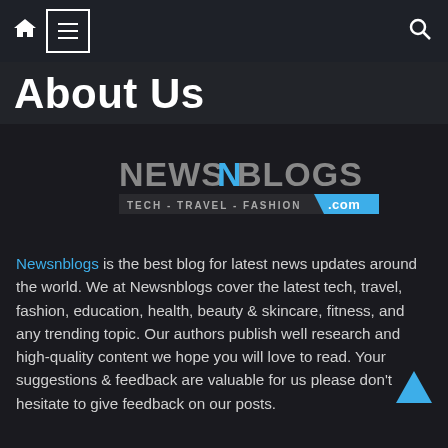Home | Menu | Search navigation bar
About Us
[Figure (logo): NewsnBlogs logo — NEWSNBLOGS text with TECH - TRAVEL - FASHION .com tagline on a dark background]
Newsnblogs is the best blog for latest news updates around the world. We at Newsnblogs cover the latest tech, travel, fashion, education, health, beauty & skincare, fitness, and any trending topic. Our authors publish well research and high-quality content we hope you will love to read. Your suggestions & feedback are valuable for us please don't hesitate to give feedback on our posts.